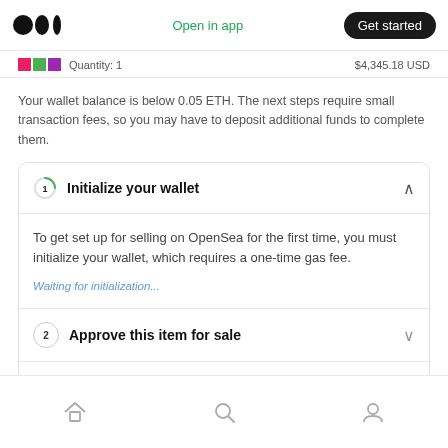Open in app | Get started
Quantity: 1   $4,345.18 USD
Your wallet balance is below 0.05 ETH. The next steps require small transaction fees, so you may have to deposit additional funds to complete them.
1 Initialize your wallet
To get set up for selling on OpenSea for the first time, you must initialize your wallet, which requires a one-time gas fee.
Waiting for initialization...
2 Approve this item for sale
3 Confirm 1 ETH listing
Home | Search | Profile